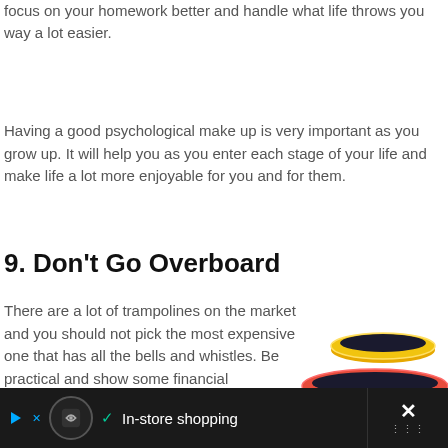focus on your homework better and handle what life throws you way a lot easier.
Having a good psychological make up is very important as you grow up. It will help you as you enter each stage of your life and make life a lot more enjoyable for you and for them.
9. Don't Go Overboard
There are a lot of trampolines on the market and you should not pick the most expensive one that has all the bells and whistles. Be practical and show some financial responsibility by picking
[Figure (photo): Stack of three colorful mini trampolines in blue, red, and yellow colors with metal legs]
In-store shopping